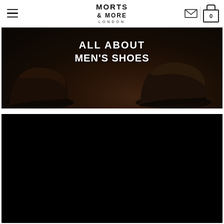Morts & More London — navigation bar with hamburger menu, logo, mail icon, and cart (0)
[Figure (photo): Hero banner with dark background showing two dark leather men's dress shoes, overlaid with white uppercase text 'ALL ABOUT MEN'S SHOES']
ALL ABOUT MEN'S SHOES
[Figure (photo): Solid black rectangle, likely a video player or dark image placeholder]